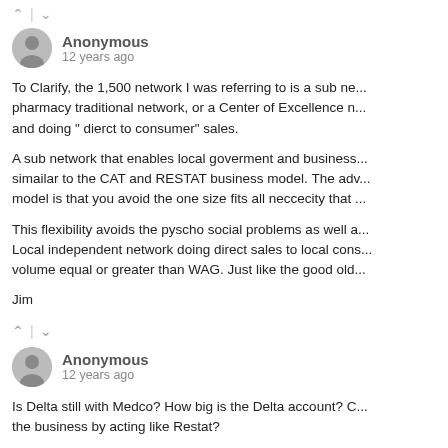^ | v
Anonymous
12 years ago
To Clarify, the 1,500 network I was referring to is a sub ne... pharmacy traditional network, or a Center of Excellence n... and doing " dierct to consumer" sales.

A sub network that enables local goverment and business... simailar to the CAT and RESTAT business model. The adv... model is that you avoid the one size fits all neccecity that ...

This flexibility avoids the pyscho social problems as well a... Local independent network doing direct sales to local cons... volume equal or greater than WAG. Just like the good old...

Jim
^ | v
Anonymous
12 years ago
Is Delta still with Medco? How big is the Delta account? C... the business by acting like Restat?